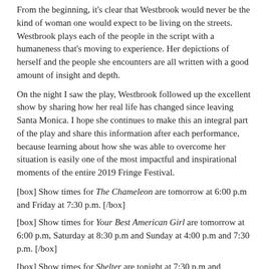From the beginning, it's clear that Westbrook would never be the kind of woman one would expect to be living on the streets. Westbrook plays each of the people in the script with a humaneness that's moving to experience. Her depictions of herself and the people she encounters are all written with a good amount of insight and depth.
On the night I saw the play, Westbrook followed up the excellent show by sharing how her real life has changed since leaving Santa Monica. I hope she continues to make this an integral part of the play and share this information after each performance, because learning about how she was able to overcome her situation is easily one of the most impactful and inspirational moments of the entire 2019 Fringe Festival.
[box] Show times for The Chameleon are tomorrow at 6:00 p.m and Friday at 7:30 p.m. [/box]
[box] Show times for Your Best American Girl are tomorrow at 6:00 p.m, Saturday at 8:30 p.m and Sunday at 4:00 p.m and 7:30 p.m. [/box]
[box] Show times for Shelter are tonight at 7:30 p.m and Saturday at 6:00 p.m. [/box]
1 A B C D E G I J L M N O P Q R S T U W
[Figure (other): Partial bottom border of page showing a search/nav box outline and partial text 'W...']